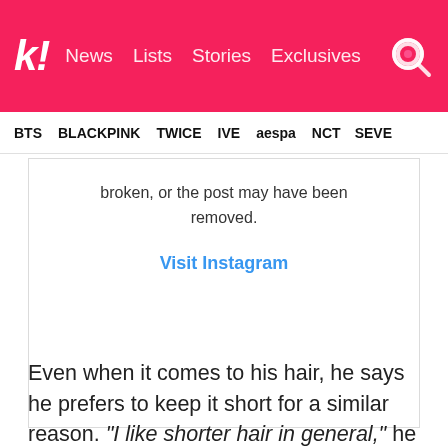k! News Lists Stories Exclusives
BTS  BLACKPINK  TWICE  IVE  aespa  NCT  SEVE
[Figure (screenshot): Instagram embed placeholder showing: 'broken, or the post may have been removed.' and a 'Visit Instagram' link in blue]
Even when it comes to his hair, he says he prefers to keep it short for a similar reason. "I like shorter hair in general," he explained that it